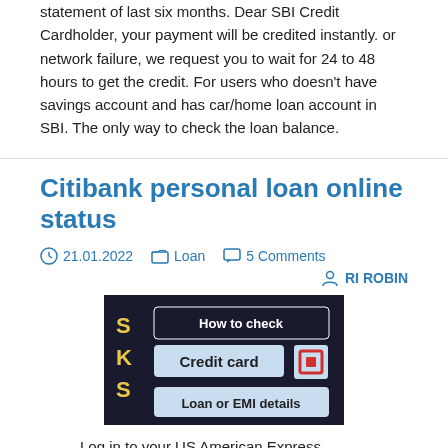statement of last six months. Dear SBI Credit Cardholder, your payment will be credited instantly. or network failure, we request you to wait for 24 to 48 hours to get the credit. For users who doesn't have savings account and has car/home loan account in SBI. The only way to check the loan balance.
Citibank personal loan online status
21.01.2022   Loan   5 Comments   RI ROBIN
[Figure (screenshot): Thumbnail image showing 'How to check Credit card Loan or EMI details' with HDFC Bank logo]
Log in to your US American Express account, to activate a new card, review and spend your reward points, get a question answered, or a range of other. Log in to your Citizens account by entering your User ID and password so you can